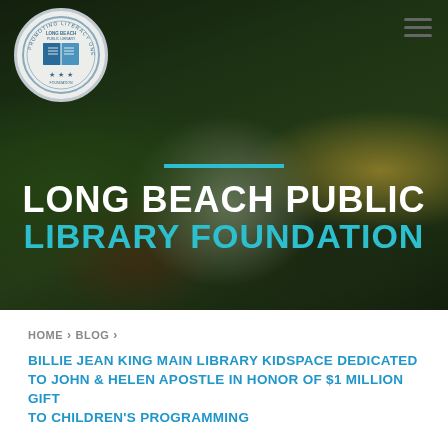[Figure (photo): Hero banner image showing three children sitting outdoors reading books in front of green foliage. The child on the left holds a green book, the center child holds a teal/cyan book, and the right child holds a yellow book. The image has a dark overlay. The Long Beach Public Library Foundation logo (circular seal with a book and stars) appears in the top-left corner. A hamburger menu icon appears in the top-right corner.]
LONG BEACH PUBLIC LIBRARY FOUNDATION
HOME > BLOG >
BILLIE JEAN KING MAIN LIBRARY KIDSPACE DEDICATED TO JOHN & HELEN APOSTLE IN HONOR OF $1 MILLION GIFT TO CHILDREN'S PROGRAMMING